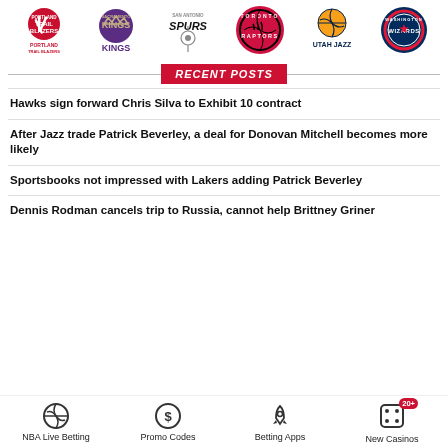[Figure (illustration): Row of NBA team logos: Portland Trail Blazers, Sacramento Kings, San Antonio Spurs, Toronto Raptors, Utah Jazz, Washington Wizards]
RECENT POSTS
Hawks sign forward Chris Silva to Exhibit 10 contract
After Jazz trade Patrick Beverley, a deal for Donovan Mitchell becomes more likely
Sportsbooks not impressed with Lakers adding Patrick Beverley
Dennis Rodman cancels trip to Russia, cannot help Brittney Griner
NBA Live Betting | Promo Codes | Betting Apps | New Casinos